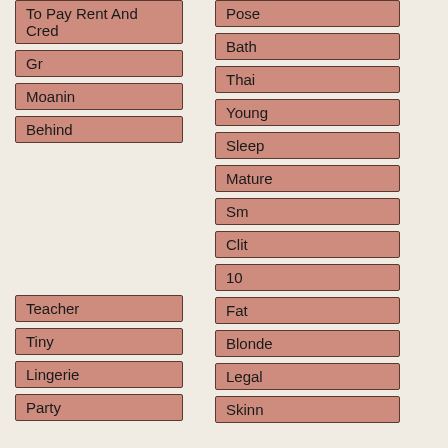To Pay Rent And Cred
Gr
Moanin
Behind
Pose
Bath
Thai
Young
Sleep
Mature
Sm
Clit
10
Fat
Blonde
Legal
Skinn
Teacher
Tiny
Lingerie
Party